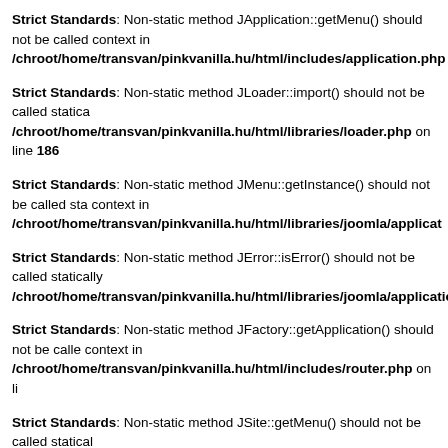Strict Standards: Non-static method JApplication::getMenu() should not be called context in /chroot/home/transvan/pinkvanilla.hu/html/includes/application.php
Strict Standards: Non-static method JLoader::import() should not be called statically /chroot/home/transvan/pinkvanilla.hu/html/libraries/loader.php on line 186
Strict Standards: Non-static method JMenu::getInstance() should not be called statically context in /chroot/home/transvan/pinkvanilla.hu/html/libraries/joomla/application
Strict Standards: Non-static method JError::isError() should not be called statically /chroot/home/transvan/pinkvanilla.hu/html/libraries/joomla/application/applic
Strict Standards: Non-static method JFactory::getApplication() should not be called context in /chroot/home/transvan/pinkvanilla.hu/html/includes/router.php on line
Strict Standards: Non-static method JSite::getMenu() should not be called statically /chroot/home/transvan/pinkvanilla.hu/html/includes/router.php on line 295
Strict Standards: Non-static method JApplication::getMenu() should not be called context in /chroot/home/transvan/pinkvanilla.hu/html/includes/application.php
Strict Standards: Non-static method JLoader::import() should not be called statically /chroot/home/transvan/pinkvanilla.hu/html/libraries/loader.php on line 186
Strict Standards: Non-static method JMenu::getInstance() should not be called statically context in /chroot/home/transvan/pinkvanilla.hu/html/libraries/joomla/application